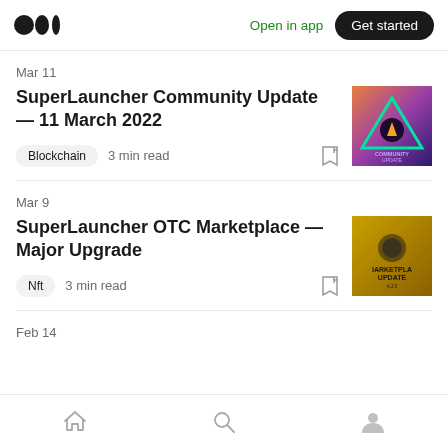Medium logo | Open in app | Get started
Mar 11
SuperLauncher Community Update — 11 March 2022
Blockchain  3 min read
[Figure (illustration): SuperLauncher Community Update thumbnail with triangle logo on dark background]
Mar 9
SuperLauncher OTC Marketplace — Major Upgrade
Nft  3 min read
[Figure (illustration): SuperLauncher Marketplace Update thumbnail with golden/yellow background]
Feb 14
Home | Search | Profile